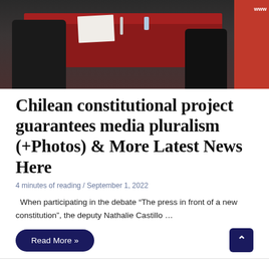[Figure (photo): Photo of people seated at a table covered with a dark red tablecloth, with a red banner/rollup stand visible on the right side showing 'www']
Chilean constitutional project guarantees media pluralism (+Photos) & More Latest News Here
4 minutes of reading / September 1, 2022
When participating in the debate “The press in front of a new constitution”, the deputy Nathalie Castillo …
Read More »